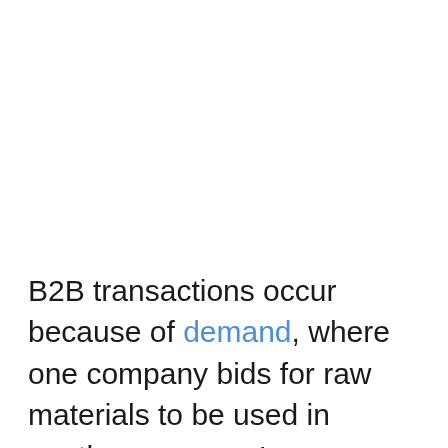B2B transactions occur because of demand, where one company bids for raw materials to be used in another company's production process.
This business cooperation between companies is